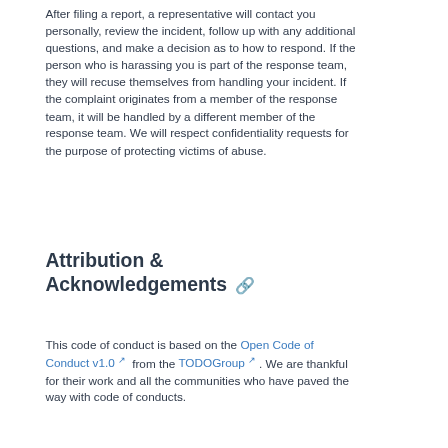After filing a report, a representative will contact you personally, review the incident, follow up with any additional questions, and make a decision as to how to respond. If the person who is harassing you is part of the response team, they will recuse themselves from handling your incident. If the complaint originates from a member of the response team, it will be handled by a different member of the response team. We will respect confidentiality requests for the purpose of protecting victims of abuse.
Attribution & Acknowledgements 🔗
This code of conduct is based on the Open Code of Conduct v1.0 ↗ from the TODOGroup ↗ . We are thankful for their work and all the communities who have paved the way with code of conducts.